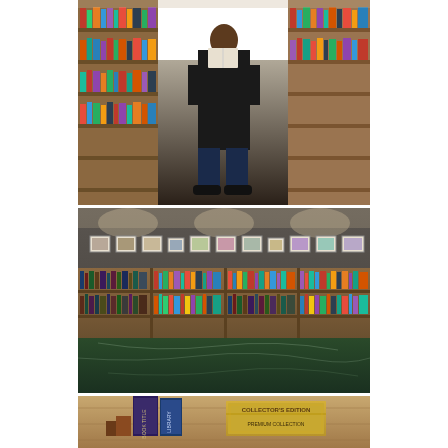[Figure (photo): A person standing in a library aisle between tall wooden bookshelves filled with books, reading an open book. The aisle has a dark floor and recedes into the background. The person is dressed in black.]
[Figure (photo): Interior of a library reading room or gallery. A long wall with evenly spaced framed artworks or photographs hung near the ceiling. Below is a long wooden bookshelf filled with books of various colors. In the foreground is a large dark green marble or stone table surface.]
[Figure (photo): Close-up of books and a decorative golden box or container on a surface. Partial view of book spines and what appears to be a collector's edition box set.]